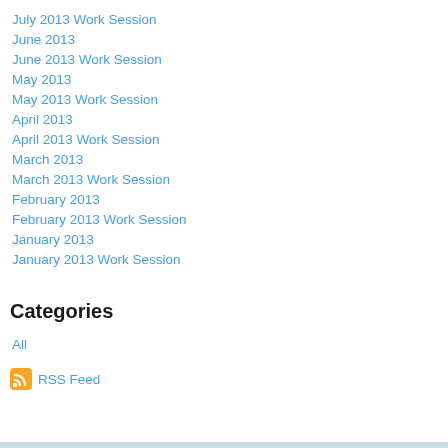July 2013 Work Session
June 2013
June 2013 Work Session
May 2013
May 2013 Work Session
April 2013
April 2013 Work Session
March 2013
March 2013 Work Session
February 2013
February 2013 Work Session
January 2013
January 2013 Work Session
Categories
All
RSS Feed